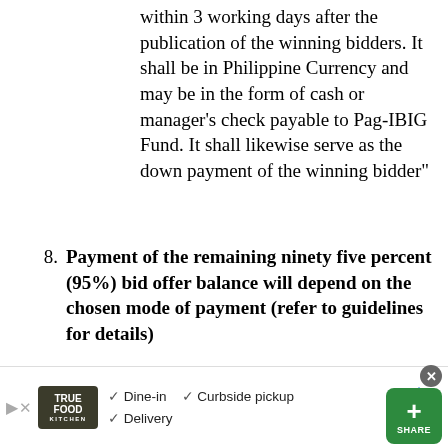within 3 working days after the publication of the winning bidders. It shall be in Philippine Currency and may be in the form of cash or manager’s check payable to Pag-IBIG Fund. It shall likewise serve as the down payment of the winning bidder”
8. Payment of the remaining ninety five percent (95%) bid offer balance will depend on the chosen mode of payment (refer to guidelines for details)
[Figure (other): Green share button with plus sign and SHARE label]
[Figure (infographic): Advertisement banner for True Food Kitchen showing Dine-in, Curbside pickup, and Delivery options with logo and navigation arrow icon]